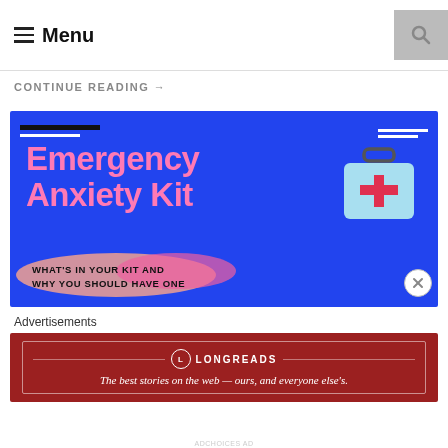☰ Menu
CONTINUE READING →
[Figure (illustration): Emergency Anxiety Kit advertisement banner on blue background with pink bold text reading 'Emergency Anxiety Kit', a medical kit icon, decorative brush strokes, and subtitle 'WHAT'S IN YOUR KIT AND WHY YOU SHOULD HAVE ONE']
Advertisements
[Figure (logo): Longreads advertisement: dark red background with Longreads logo and text 'The best stories on the web — ours, and everyone else's.']